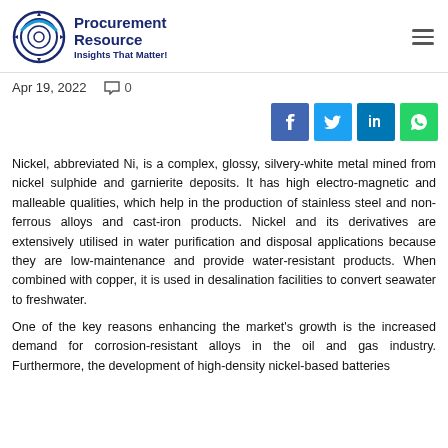Procurement Resource — Insights That Matter!
Apr 19, 2022   0
[Figure (other): Social share buttons: Facebook, Twitter, LinkedIn, WhatsApp]
Nickel, abbreviated Ni, is a complex, glossy, silvery-white metal mined from nickel sulphide and garnierite deposits. It has high electro-magnetic and malleable qualities, which help in the production of stainless steel and non-ferrous alloys and cast-iron products. Nickel and its derivatives are extensively utilised in water purification and disposal applications because they are low-maintenance and provide water-resistant products. When combined with copper, it is used in desalination facilities to convert seawater to freshwater.
One of the key reasons enhancing the market's growth is the increased demand for corrosion-resistant alloys in the oil and gas industry. Furthermore, the development of high-density nickel-based batteries